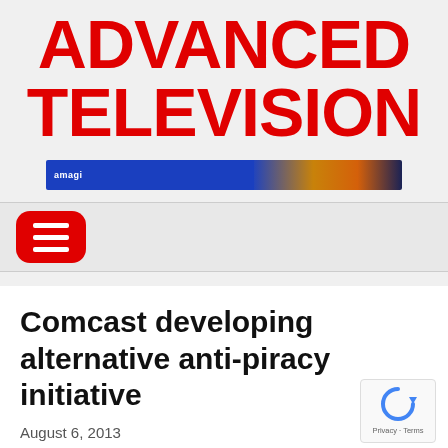ADVANCED TELEVISION
[Figure (screenshot): Advertisement banner with blue background on left (showing 'amagi' text) and a colorful city/train image on the right]
[Figure (other): Red rounded rectangle hamburger menu button with three white horizontal bars]
Comcast developing alternative anti-piracy initiative
August 6, 2013